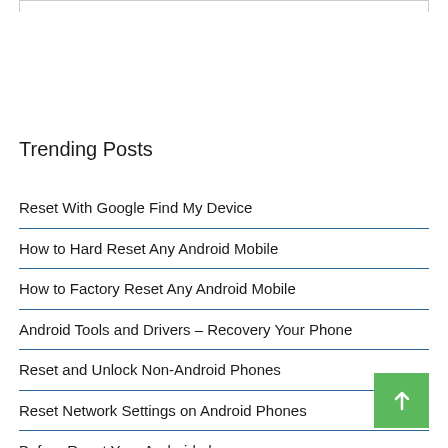Trending Posts
Reset With Google Find My Device
How to Hard Reset Any Android Mobile
How to Factory Reset Any Android Mobile
Android Tools and Drivers – Recovery Your Phone
Reset and Unlock Non-Android Phones
Reset Network Settings on Android Phones
Before Reset Your Android phone